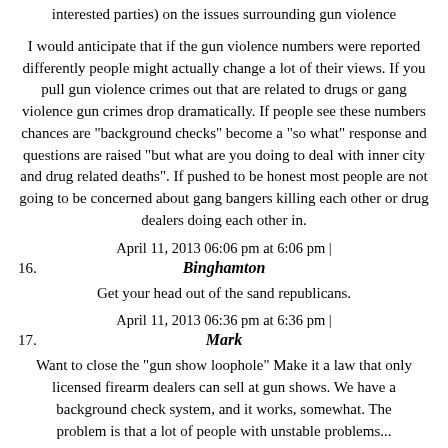interested parties) on the issues surrounding gun violence
I would anticipate that if the gun violence numbers were reported differently people might actually change a lot of their views. If you pull gun violence crimes out that are related to drugs or gang violence gun crimes drop dramatically. If people see these numbers chances are "background checks" become a "so what" response and questions are raised "but what are you doing to deal with inner city and drug related deaths". If pushed to be honest most people are not going to be concerned about gang bangers killing each other or drug dealers doing each other in.
April 11, 2013 06:06 pm at 6:06 pm |
16. Binghamton
Get your head out of the sand republicans.
April 11, 2013 06:36 pm at 6:36 pm |
17. Mark
Want to close the "gun show loophole" Make it a law that only licensed firearm dealers can sell at gun shows. We have a background check system, and it works, somewhat. The problem is that a lot of people with unstable problems...